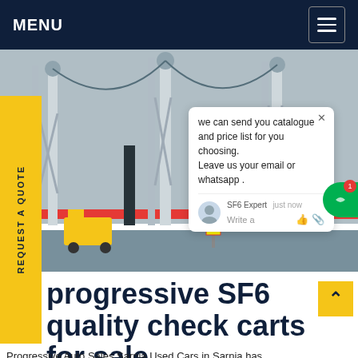MENU
[Figure (photo): Industrial electrical substation with tall steel lattice towers, high-voltage equipment, cables, and construction barriers in the foreground. A chat popup overlay is visible with message: 'we can send you catalogue and price list for you choosing. Leave us your email or whatsapp .' Signed by SF6 Expert. A watermark reads 'SF6China'. A yellow sidebar on the left reads 'REQUEST A QUOTE' vertically.]
progressive SF6 quality check carts for sale
Progressive Auto Sales Sarnia Used Cars in Sarnia has